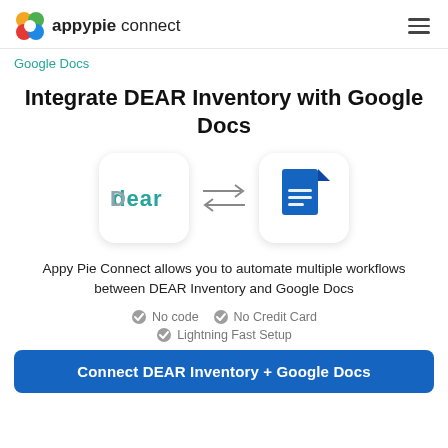appypie connect
Google Docs
Integrate DEAR Inventory with Google Docs
[Figure (illustration): DEAR Inventory logo icon in rounded rectangle box, bidirectional arrows, Google Docs logo icon in rounded rectangle box]
Appy Pie Connect allows you to automate multiple workflows between DEAR Inventory and Google Docs
No code
No Credit Card
Lightning Fast Setup
Connect DEAR Inventory + Google Docs